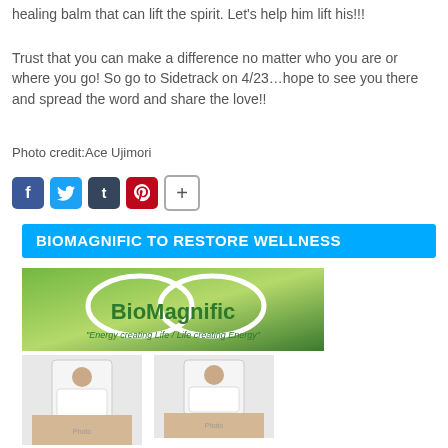healing balm that can lift the spirit. Let’s help him lift his!!!
Trust that you can make a difference no matter who you are or where you go! So go to Sidetrack on 4/23…hope to see you there and spread the word and share the love!!
Photo credit:Ace Ujimori
[Figure (infographic): Social sharing icons: Facebook (blue), Twitter (light blue), Tumblr (dark), Pinterest (red), and a plus/share button.]
BIOMAGNIFIC TO RESTORE WELLNESS
[Figure (logo): BioMagnific logo on a green gradient background with infinity/arrow symbol around the brand name and tagline 'Energy creating Life / Life creating Energy']
[Figure (photo): Two photos of a man in a white lab coat working at a table with objects on it.]